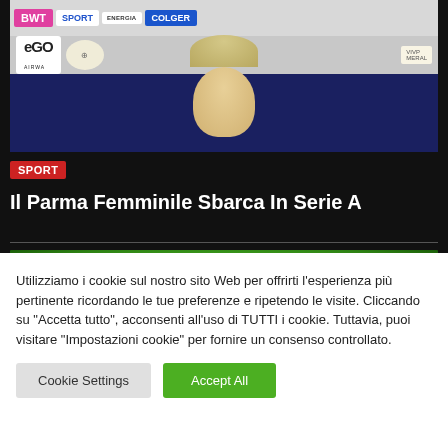[Figure (screenshot): Press conference photo with person at podium, sponsor logos visible including BWT, SPORT, ENERGIA, COLGER, EGO AIRWAY, Parma club crest]
SPORT
Il Parma Femminile Sbarca In Serie A
[Figure (screenshot): Green football/soccer game graphic with bubble/circle elements on green background]
Utilizziamo i cookie sul nostro sito Web per offrirti l'esperienza più pertinente ricordando le tue preferenze e ripetendo le visite. Cliccando su "Accetta tutto", acconsenti all'uso di TUTTI i cookie. Tuttavia, puoi visitare "Impostazioni cookie" per fornire un consenso controllato.
Cookie Settings
Accept All